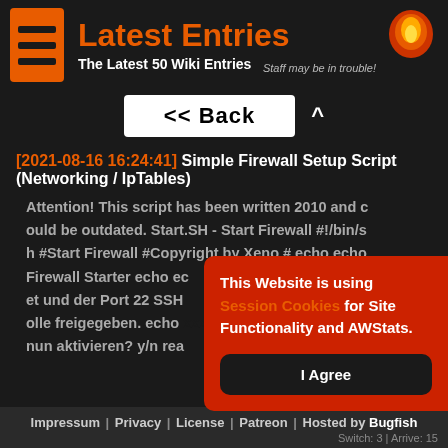Latest Entries — The Latest 50 Wiki Entries
Staff may be in trouble!
<< Back
[2021-08-16 16:24:41] Simple Firewall Setup Script (Networking / IpTables)
Attention! This script has been written 2010 and could be outdated. Start.SH - Start Firewall #!/bin/sh #Start Firewall #Copyright by Xeno # echo echo Firewall Starter echo ec… et und der Port 22 SSH … olle freigegeben. echo … nun aktivieren? y/n rea…
This Website is using Session Cookies for Site Functionality and AWStats. I Agree
Impressum | Privacy | License | Patreon | Hosted by Bugfish  Switch: 3 | Arrive: 15